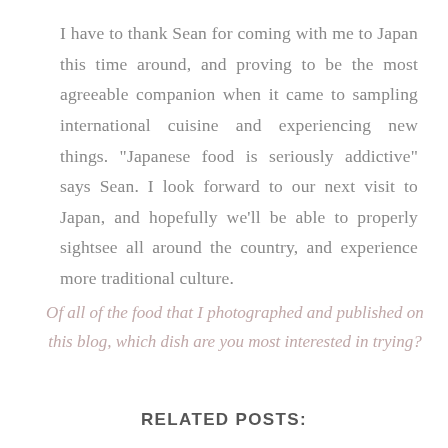I have to thank Sean for coming with me to Japan this time around, and proving to be the most agreeable companion when it came to sampling international cuisine and experiencing new things. "Japanese food is seriously addictive" says Sean. I look forward to our next visit to Japan, and hopefully we'll be able to properly sightsee all around the country, and experience more traditional culture.
Of all of the food that I photographed and published on this blog, which dish are you most interested in trying?
RELATED POSTS: